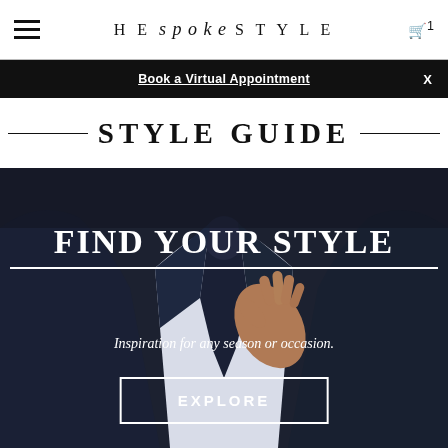HE spoke STYLE
Book a Virtual Appointment  X
STYLE GUIDE
[Figure (photo): Man in dark navy suit adjusting tie, close-up torso shot with hand visible]
FIND YOUR STYLE
Inspiration for any season or occasion.
EXPLORE